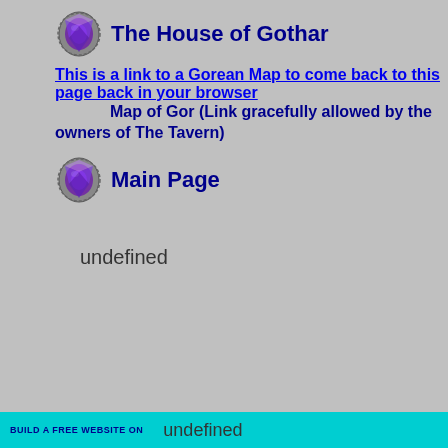The House of Gothar
This is a link to a Gorean Map to come back to this page back in your browser
Map of Gor (Link gracefully allowed by the owners of The Tavern)
Main Page
undefined
BUILD A FREE WEBSITE ON  undefined